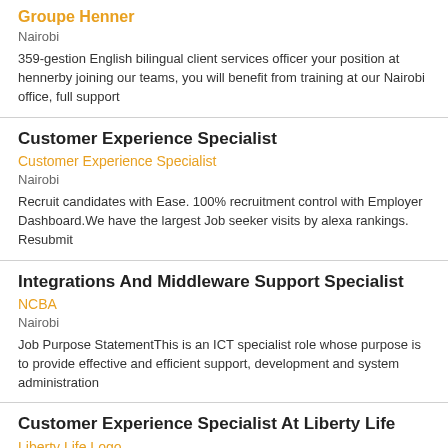Groupe Henner
Nairobi
359-gestion English bilingual client services officer your position at hennerby joining our teams, you will benefit from training at our Nairobi office, full support
Customer Experience Specialist
Customer Experience Specialist
Nairobi
Recruit candidates with Ease. 100% recruitment control with Employer Dashboard.We have the largest Job seeker visits by alexa rankings. Resubmit
Integrations And Middleware Support Specialist
NCBA
Nairobi
Job Purpose StatementThis is an ICT specialist role whose purpose is to provide effective and efficient support, development and system administration
Customer Experience Specialist At Liberty Life
Liberty Life Logo
Nairobi